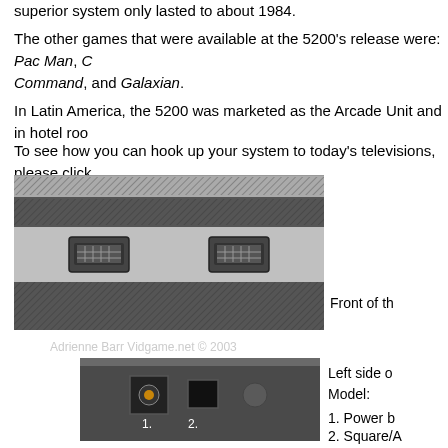superior system only lasted to about 1984.
The other games that were available at the 5200's release were: Pac Man, C Command, and Galaxian.
In Latin America, the 5200 was marketed as the Arcade Unit and in hotel roo
To see how you can hook up your system to today's televisions, please click
[Figure (photo): Front view of Atari 5200 console showing two controller ports]
Front of th
Adrienne Barr Vidgame.net © 2003
[Figure (photo): Left side of Atari 5200 console showing power button (1) and square/antenna connection (2)]
Left side o Model:
1. Power b
2. Square/A